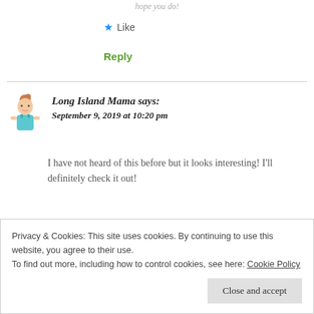hope you do!
★ Like
Reply
Long Island Mama says:
September 9, 2019 at 10:20 pm
I have not heard of this before but it looks interesting! I'll definitely check it out!
Privacy & Cookies: This site uses cookies. By continuing to use this website, you agree to their use.
To find out more, including how to control cookies, see here: Cookie Policy
Close and accept